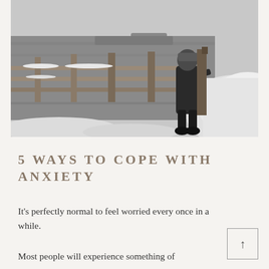[Figure (photo): Black and white winter photograph of a child in a heavy coat and hat standing on a snow-covered wooden dock or bridge by a frozen lake, with large snow mounds on the right side.]
5 WAYS TO COPE WITH ANXIETY
It's perfectly normal to feel worried every once in a while.
Most people will experience something of...